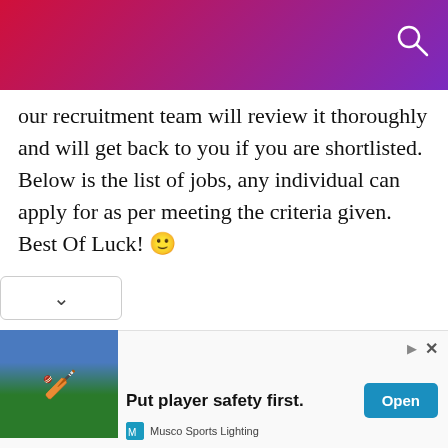[Figure (screenshot): Gradient header bar from red to purple with a search icon (circle with handle) in the top right corner]
our recruitment team will review it thoroughly and will get back to you if you are shortlisted. Below is the list of jobs, any individual can apply for as per meeting the criteria given. Best Of Luck! 🙂
[Figure (screenshot): Dropdown/expand button with a downward chevron arrow on a white rounded rectangle]
[Figure (screenshot): Advertisement banner: image of cricket players on left, headline 'Put player safety first.' in center, 'Open' button in teal on right, Musco Sports Lighting logo at bottom left]